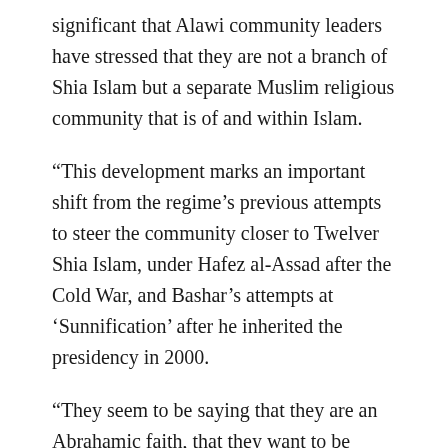significant that Alawi community leaders have stressed that they are not a branch of Shia Islam but a separate Muslim religious community that is of and within Islam.
“This development marks an important shift from the regime’s previous attempts to steer the community closer to Twelver Shia Islam, under Hafez al-Assad after the Cold War, and Bashar’s attempts at ‘Sunnification’ after he inherited the presidency in 2000.
“They seem to be saying that they are an Abrahamic faith, that they want to be treated as such rather than as a minority Shia Islamic sect,